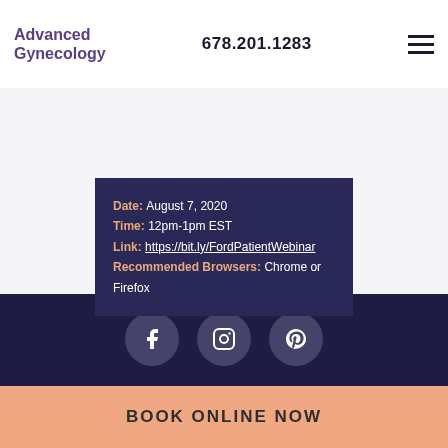Advanced Gynecology  678.201.1283
Date: August 7, 2020
Time: 12pm-1pm EST
Link: https://bit.ly/FordPatientWebinar
Recommended Browsers: Chrome or Firefox
[Figure (other): Social media icons for Facebook, Instagram, and Pinterest on dark navy background]
BOOK ONLINE NOW